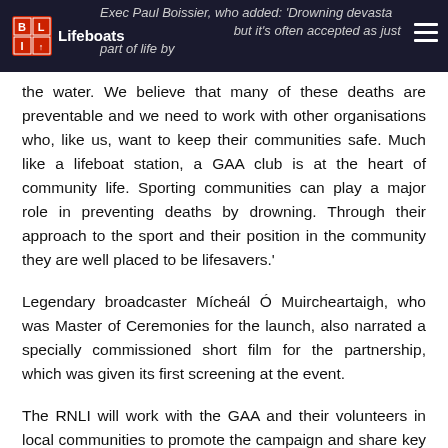RNLI Lifeboats — Exec Paul Boissier, who added: 'Drowning devastates families, but it's often accepted as just part of life by the water.
the water. We believe that many of these deaths are preventable and we need to work with other organisations who, like us, want to keep their communities safe. Much like a lifeboat station, a GAA club is at the heart of community life. Sporting communities can play a major role in preventing deaths by drowning. Through their approach to the sport and their position in the community they are well placed to be lifesavers.'
Legendary broadcaster Mícheál Ó Muircheartaigh, who was Master of Ceremonies for the launch, also narrated a specially commissioned short film for the partnership, which was given its first screening at the event.
The RNLI will work with the GAA and their volunteers in local communities to promote the campaign and share key safety messages and advice.